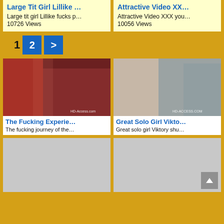[Figure (screenshot): Video thumbnail card: Large Tit Girl Lillike with description and view count]
Large Tit Girl Lillike …
Large tit girl Lillike fucks p…
10726 Views
[Figure (screenshot): Video thumbnail card: Attractive Video XXX with description and view count]
Attractive Video XX…
Attractive Video XXX you…
10056 Views
1  2  >
[Figure (photo): Video thumbnail: The Fucking Experience - explicit content with HD-Access.com watermark]
The Fucking Experie…
The fucking journey of the…
[Figure (photo): Video thumbnail: Great Solo Girl Viktory - solo girl with toy, HD-ACCESS.COM watermark]
Great Solo Girl Vikto…
Great solo girl Viktory shu…
[Figure (photo): Video thumbnail placeholder (loading/grey)]
[Figure (photo): Video thumbnail placeholder (loading/grey)]